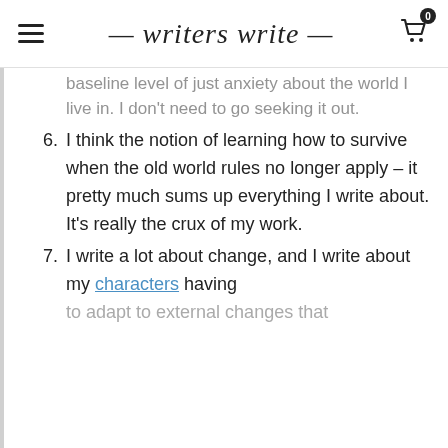writers write
baseline level of just anxiety about the world I live in. I don't need to go seeking it out.
6. I think the notion of learning how to survive when the old world rules no longer apply – it pretty much sums up everything I write about. It's really the crux of my work.
7. I write a lot about change, and I write about my characters having to adapt to external changes that